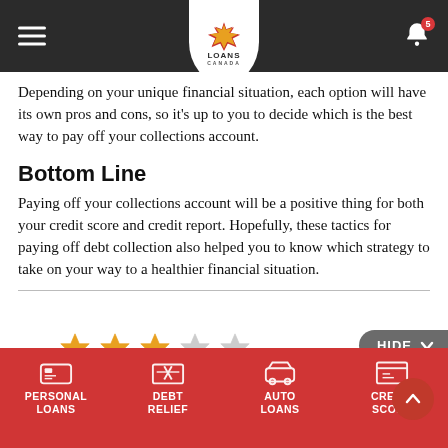Loans Canada — navigation header
Depending on your unique financial situation, each option will have its own pros and cons, so it's up to you to decide which is the best way to pay off your collections account.
Bottom Line
Paying off your collections account will be a positive thing for both your credit score and credit report. Hopefully, these tactics for paying off debt collection also helped you to know which strategy to take on your way to a healthier financial situation.
[Figure (other): Star rating widget showing 3 out of 5 stars filled in gold, 2 grey stars unfilled, with a grey 'HIDE' button on the right]
PERSONAL LOANS | DEBT RELIEF | AUTO LOANS | CREDIT SCORE